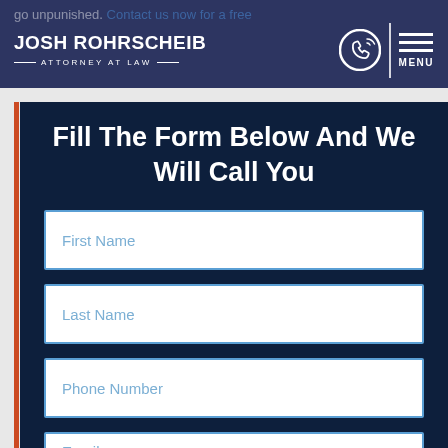go unpunished. Contact us now for a free — JOSH ROHRSCHEIB — ATTORNEY AT LAW — MENU
Fill The Form Below And We Will Call You
First Name
Last Name
Phone Number
Email